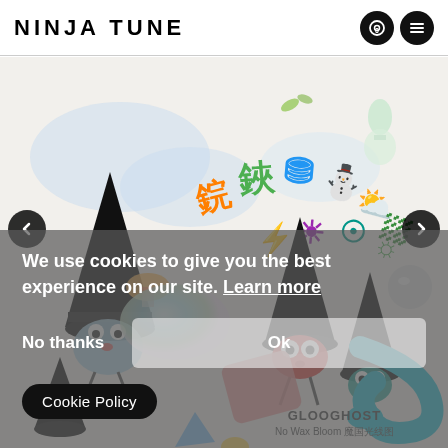NINJA TUNE
[Figure (illustration): Colorful 3D illustration featuring cartoon witch-hat characters with googly eyes, a teal snake, floating objects, and stylized colorful text characters on a white/light background. Carousel navigation arrows visible on left and right.]
We use cookies to give you the best experience on our site. Learn more
No thanks
Ok
Cookie Policy
GLOOGHOST
No Wax Bloom 魔国光线图